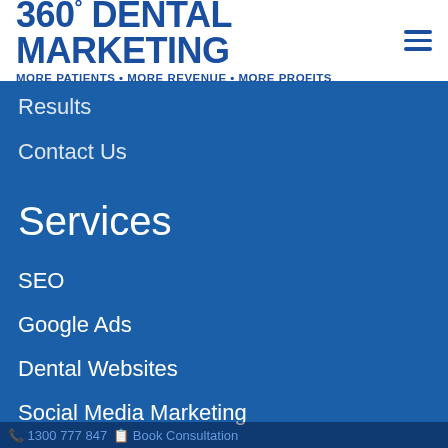360° DENTAL MARKETING MORE PATIENTS • MORE REVENUE • MORE PROFITS
Results
Contact Us
Services
SEO
Google Ads
Dental Websites
Social Media Marketing
Personal Branding
New Patient Campaign
Existing Patients Campaign
1300 777 847  Book Consultation